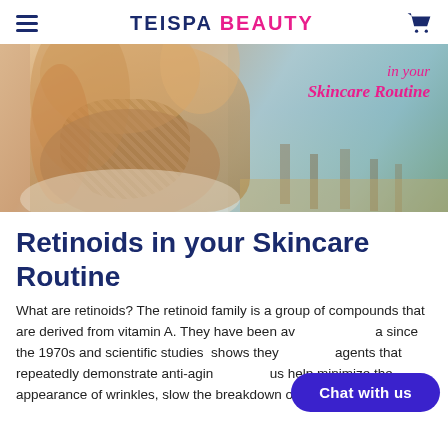TEISPA BEAUTY
[Figure (photo): Hero banner image of a woman with long blonde hair wearing a knit scarf and cream sweater, outdoors in an autumn landscape. Text overlay reads 'in your Skincare Routine' in pink italic font.]
Retinoids in your Skincare Routine
What are retinoids? The retinoid family is a group of compounds that are derived from vitamin A. They have been available since the 1970s and scientific studies shows they are agents that repeatedly demonstrate anti-aging benefits and help minimize the appearance of wrinkles, slow the breakdown of